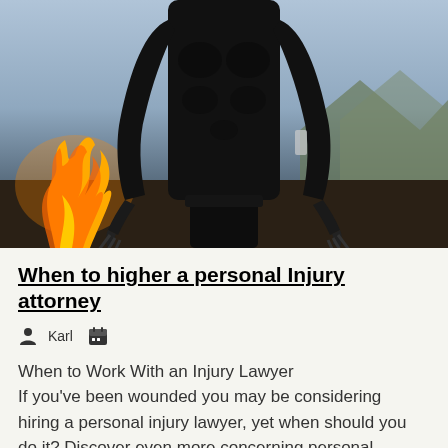[Figure (photo): A superhero figure in a black suit with claws, crouching against a background with fire on the left and mountains in the distance. The scene is dark and dramatic.]
When to higher a personal Injury attorney
Karl [person icon] [calendar icon]
When to Work With an Injury Lawyer
If you've been wounded you may be considering hiring a personal injury lawyer, yet when should you do it? Discover even more concerning personal